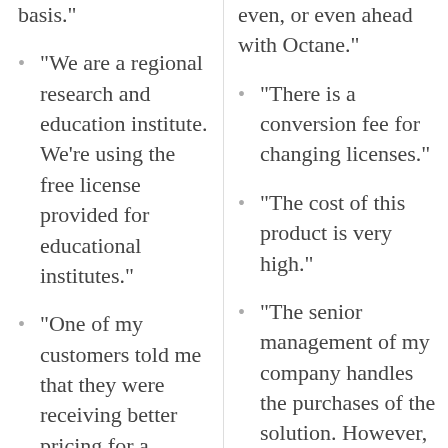basis."
"We are a regional research and education institute. We're using the free license provided for educational institutes."
"One of my customers told me that they were receiving better pricing for a similar tool from Microsoft."
even, or even ahead with Octane."
"There is a conversion fee for changing licenses."
"The cost of this product is very high."
"The senior management of my company handles the purchases of the solution. However, the price per developer